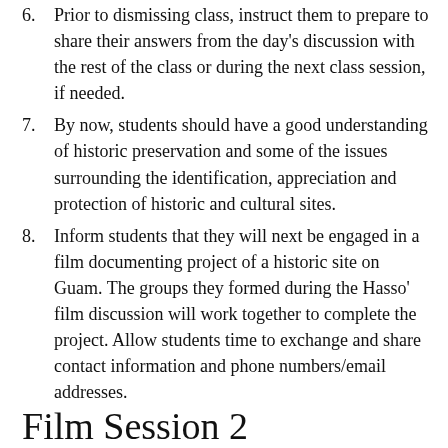6. Prior to dismissing class, instruct them to prepare to share their answers from the day's discussion with the rest of the class or during the next class session, if needed.
7. By now, students should have a good understanding of historic preservation and some of the issues surrounding the identification, appreciation and protection of historic and cultural sites.
8. Inform students that they will next be engaged in a film documenting project of a historic site on Guam. The groups they formed during the Hasso' film discussion will work together to complete the project. Allow students time to exchange and share contact information and phone numbers/email addresses.
Film Session 2